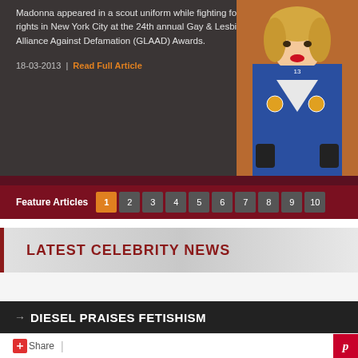Madonna appeared in a scout uniform while fighting for gay rights in New York City at the 24th annual Gay & Lesbian Alliance Against Defamation (GLAAD) Awards.
18-03-2013 | Read Full Article
[Figure (photo): Photo of Madonna dressed in a blue scout uniform with patches, white neckerchief, and black gloves, posing in front of a wall]
Feature Articles  1  2  3  4  5  6  7  8  9  10
LATEST CELEBRITY NEWS
DIESEL PRAISES FETISHISM
Share |